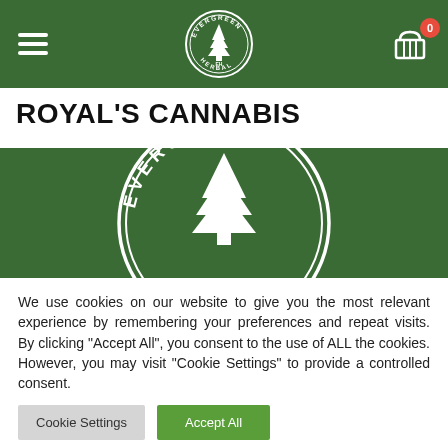Evergreen Herbal navigation bar with hamburger menu, logo, and cart icon
ROYAL'S CANNABIS
[Figure (logo): Evergreen Herbal circular logo with pine tree on dark green background banner]
We use cookies on our website to give you the most relevant experience by remembering your preferences and repeat visits. By clicking "Accept All", you consent to the use of ALL the cookies. However, you may visit "Cookie Settings" to provide a controlled consent.